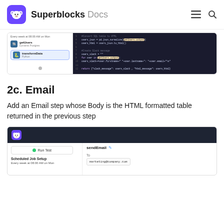Superblocks Docs
[Figure (screenshot): Superblocks workflow editor screenshot showing getUsers (Dynamic Postgres) and transformData (Python) steps with Python code editor displaying SQL-to-HTML conversion and Slack message creation code]
2c. Email
Add an Email step whose Body is the HTML formatted table returned in the previous step
[Figure (screenshot): Superblocks workflow editor screenshot showing sendEmail step configuration with Run Test button, Scheduled Job Setup (Every week at 08:00 AM on Mon), To field with marketing@company.com]